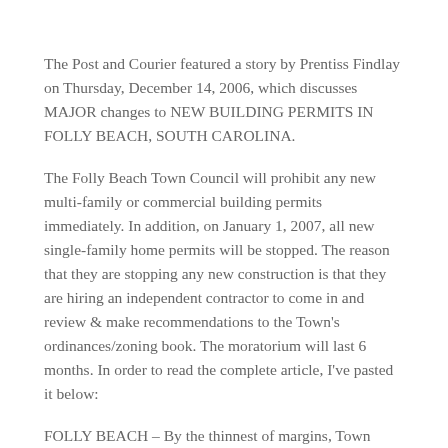The Post and Courier featured a story by Prentiss Findlay on Thursday, December 14, 2006, which discusses MAJOR changes to NEW BUILDING PERMITS IN FOLLY BEACH, SOUTH CAROLINA.
The Folly Beach Town Council will prohibit any new multi-family or commercial building permits immediately. In addition, on January 1, 2007, all new single-family home permits will be stopped. The reason that they are stopping any new construction is that they are hiring an independent contractor to come in and review & make recommendations to the Town's ordinances/zoning book. The moratorium will last 6 months. In order to read the complete article, I've pasted it below:
FOLLY BEACH – By the thinnest of margins, Town